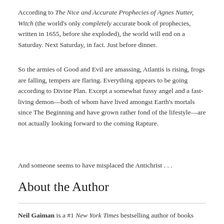According to The Nice and Accurate Prophecies of Agnes Nutter, Witch (the world's only completely accurate book of prophecies, written in 1655, before she exploded), the world will end on a Saturday. Next Saturday, in fact. Just before dinner.
So the armies of Good and Evil are amassing, Atlantis is rising, frogs are falling, tempers are flaring. Everything appears to be going according to Divine Plan. Except a somewhat fussy angel and a fast-living demon—both of whom have lived amongst Earth's mortals since The Beginning and have grown rather fond of the lifestyle—are not actually looking forward to the coming Rapture.
And someone seems to have misplaced the Antichrist . . .
About the Author
Neil Gaiman is a #1 New York Times bestselling author of books